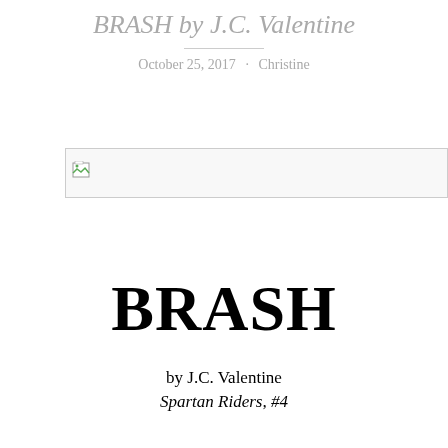BRASH by J.C. Valentine
October 25, 2017 · Christine
[Figure (photo): Broken/missing image placeholder with small image icon in top-left corner, wide horizontal box]
BRASH
by J.C. Valentine
Spartan Riders, #4